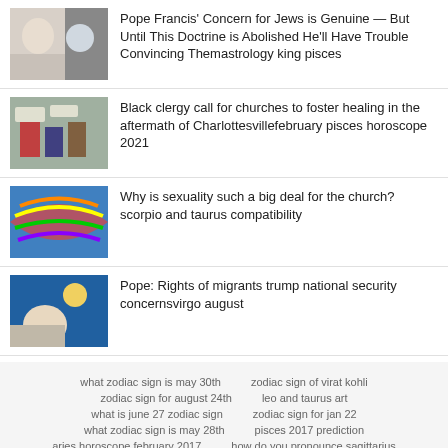Pope Francis' Concern for Jews is Genuine — But Until This Doctrine is Abolished He'll Have Trouble Convincing Themastrology king pisces
Black clergy call for churches to foster healing in the aftermath of Charlottesvillefebruary pisces horoscope 2021
Why is sexuality such a big deal for the church? scorpio and taurus compatibility
Pope: Rights of migrants trump national security concernsvirgo august
what zodiac sign is may 30th    zodiac sign of virat kohli    zodiac sign for august 24th    leo and taurus art    what is june 27 zodiac sign    zodiac sign for jan 22    what zodiac sign is may 28th    pisces 2017 prediction    aries horoscope february 2017    how do you pronounce sagittarius